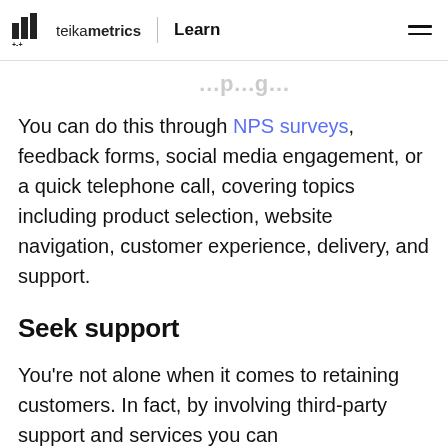teikametrics | Learn
…pg…
You can do this through NPS surveys, feedback forms, social media engagement, or a quick telephone call, covering topics including product selection, website navigation, customer experience, delivery, and support.
Seek support
You're not alone when it comes to retaining customers. In fact, by involving third-party support and services you can